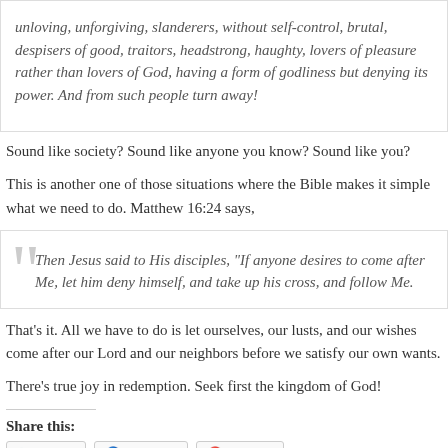unloving, unforgiving, slanderers, without self-control, brutal, despisers of good, traitors, headstrong, haughty, lovers of pleasure rather than lovers of God, having a form of godliness but denying its power. And from such people turn away!
Sound like society? Sound like anyone you know? Sound like you?
This is another one of those situations where the Bible makes it simple what we need to do. Matthew 16:24 says,
Then Jesus said to His disciples, “If anyone desires to come after Me, let him deny himself, and take up his cross, and follow Me.
That’s it. All we have to do is let ourselves, our lusts, and our wishes come after our Lord and our neighbors before we satisfy our own wants.
There’s true joy in redemption. Seek first the kingdom of God!
Share this:
Twitter Facebook Pinterest